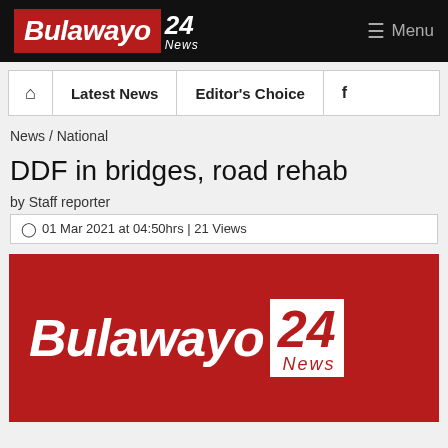Bulawayo 24 News — Menu
Home | Latest News | Editor's Choice | Facebook
News / National
DDF in bridges, road rehab
by Staff reporter
01 Mar 2021 at 04:50hrs | 21 Views
[Figure (logo): Bulawayo24 News logo on dark red background]